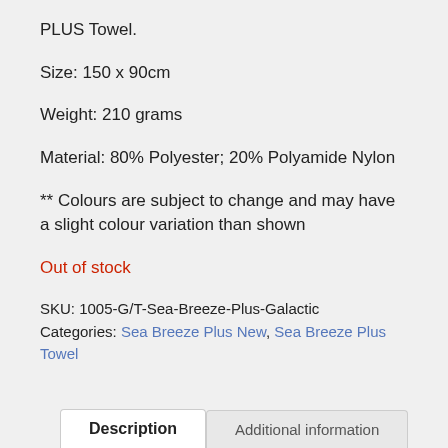PLUS Towel.
Size: 150 x 90cm
Weight: 210 grams
Material: 80% Polyester; 20% Polyamide Nylon
** Colours are subject to change and may have a slight colour variation than shown
Out of stock
SKU: 1005-G/T-Sea-Breeze-Plus-Galactic
Categories: Sea Breeze Plus New, Sea Breeze Plus Towel